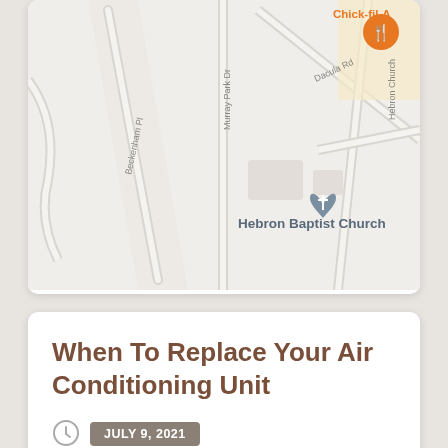[Figure (map): Google Maps screenshot showing Hebron Baptist Church area with roads: Beckenham Pl, Murray Park Dr, Dacula Rd, Hebron Church. Chick-fil-A marker visible in top right corner (orange). Hebron Baptist Church marker visible in center.]
When To Replace Your Air Conditioning Unit
JULY 9, 2021